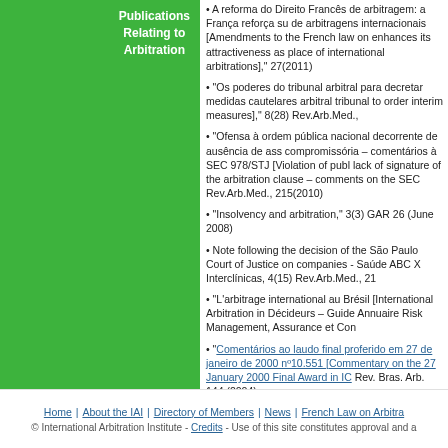Publications Relating to Arbitration
A reforma do Direito Francês de arbitragem: a França reforça su de arbitragens internacionais [Amendments to the French law on enhances its attractiveness as place of international arbitrations], 27(2011)
"Os poderes do tribunal arbitral para decretar medidas cautelares arbitral tribunal to order interim measures]," 8(28) Rev.Arb.Med.,
"Ofensa à ordem pública nacional decorrente de ausência de ass compromissória – comentários à SEC 978/STJ [Violation of publ lack of signature of the arbitration clause – comments on the SEC Rev.Arb.Med., 215(2010)
"Insolvency and arbitration," 3(3) GAR 26 (June 2008)
Note following the decision of the São Paulo Court of Justice on companies - Saúde ABC X Interclínicas, 4(15) Rev.Arb.Med., 21
"L'arbitrage international au Brésil [International Arbitration in Décideurs – Guide Annuaire Risk Management, Assurance et Con
"Comentários ao laudo final proferido em 27 de janeiro de 2000 nº10.551 [Commentary on the 27 January 2000 Final Award in IC Rev. Bras. Arb. 144 (2004)
"Organizações internacionais e arbitragem CCI [International or arbitration]," 1(0) Rev. Bras. Arb. 162 (2003)
"Arbitragem: Uma realidade no Mercosul? Comentário ao Proto solução de controvérsias [Arbitration: a Reality in Mercosur? Com Protocol on dispute resolution]," 2000(9) Rev. Dir. Bancário 376
Home | About the IAI | Directory of Members | News | French Law on Arbitration
© International Arbitration Institute - Credits - Use of this site constitutes approval and a